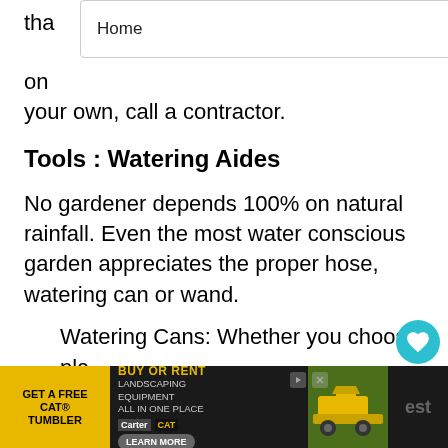that on your own, call a contractor.
Tools : Watering Aides
No gardener depends 100% on natural rainfall. Even the most water conscious garden appreciates the proper hose, watering can or wand.
Watering Cans: Whether you choose plastic or galvanized makes no difference, but do look for generous capacity and a that is balanced when filled with water. A 2 gallon
[Figure (screenshot): Navigation bar overlay with 'Home' and chevron dropdown]
[Figure (screenshot): Heart/like button (teal circle with heart icon), count '1', and share button]
[Figure (screenshot): What's Next card with thumbnail: 'Top 10 Largest Pumpkins in...']
[Figure (screenshot): Bottom advertisement bar: GET A FREE CAT TUMBLER, BUY OR RENT LANDSCAPING EQUIPMENT ALL IN ONE PLACE, Carter CAT, LEARN MORE, excavator image]